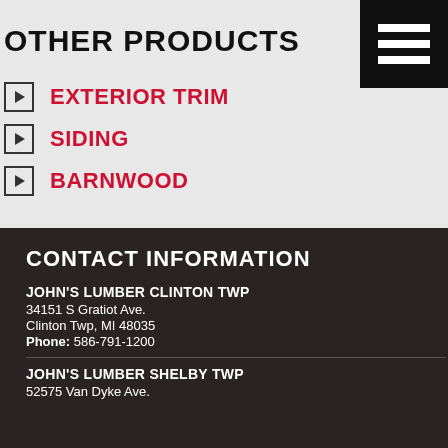OTHER PRODUCTS
EXTERIOR TRIM
SIDING
BARNWOOD
CONTACT INFORMATION
JOHN'S LUMBER CLINTON TWP
34151 S Gratiot Ave.
Clinton Twp, MI 48035
Phone: 586-791-1200
JOHN'S LUMBER SHELBY TWP
52575 Van Dyke Ave.